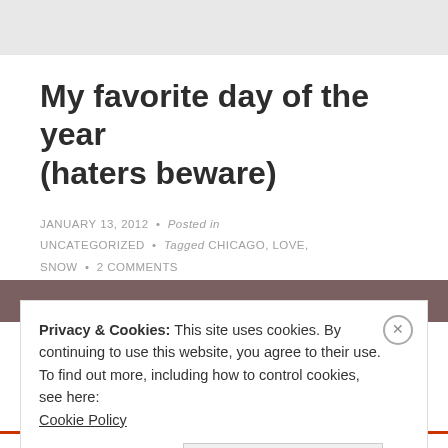My favorite day of the year (haters beware)
JANUARY 13, 2012 • Posted in UNCATEGORIZED • Tagged CHICAGO, LOVE, SNOW • 2 COMMENTS
[Figure (photo): Partial photo strip visible behind cookie banner, dark earthy tones]
Privacy & Cookies: This site uses cookies. By continuing to use this website, you agree to their use.
To find out more, including how to control cookies, see here:
Cookie Policy
Close and accept